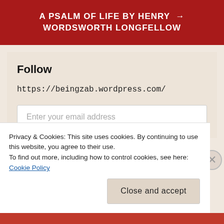A PSALM OF LIFE BY HENRY WORDSWORTH LONGFELLOW →
Follow
https://beingzab.wordpress.com/
Enter your email address
Privacy & Cookies: This site uses cookies. By continuing to use this website, you agree to their use.
To find out more, including how to control cookies, see here: Cookie Policy
Close and accept